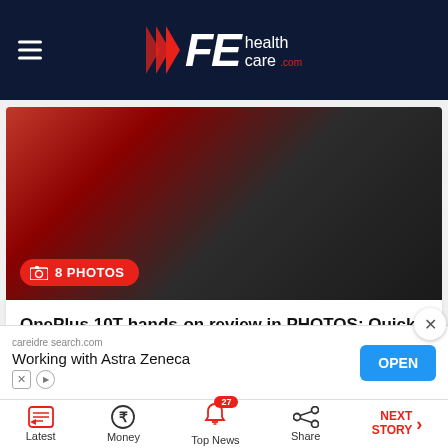FE healthcare.com
[Figure (photo): Close-up photo of OnePlus 10T smartphone showing design details, dark background with red accent. Badge showing '8 PHOTOS'.]
OnePlus 10T hands-on review in PHOTOS: Quick first look at design, specs, features, and more
2 days ago
[Figure (photo): Partial view of second article image showing two scenes side by side.]
[Figure (screenshot): Advertisement banner: careidre search.com - Working with Astra Zeneca - OPEN button]
Latest  Money  Top News (27)  Share  NEXT STORY